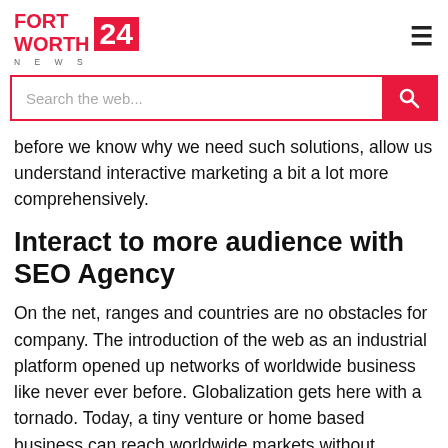FORT WORTH 24 NEWS
before we know why we need such solutions, allow us understand interactive marketing a bit a lot more comprehensively.
Interact to more audience with SEO Agency
On the net, ranges and countries are no obstacles for company. The introduction of the web as an industrial platform opened up networks of worldwide business like never ever before. Globalization gets here with a tornado. Today, a tiny venture or home based business can reach worldwide markets without vacating the office. With online video clip conferencing and open worldwide info over the web, interactive service processes are growing. The idea is